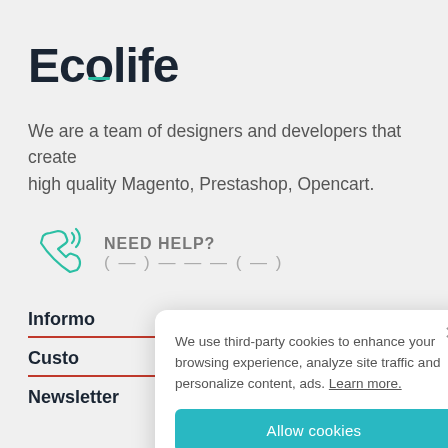Ecolife
We are a team of designers and developers that create high quality Magento, Prestashop, Opencart.
[Figure (illustration): Green phone icon with signal waves indicating a call]
NEED HELP?
Information
Customer
Newsletter
We use third-party cookies to enhance your browsing experience, analyze site traffic and personalize content, ads. Learn more.
Allow cookies